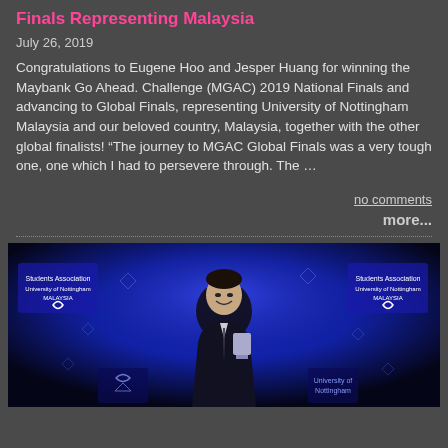Finals Representing Malaysia
July 26, 2019
Congratulations to Eugene Hoo and Jesper Huang for winning the Maybank Go Ahead. Challenge (MGAC) 2019 National Finals and advancing to Global Finals, representing University of Nottingham Malaysia and our beloved country, Malaysia, together with the other global finalists! “The journey to MGAC Global Finals was a very tough one, one which I had to persevere through. The …
no comments
more...
[Figure (photo): A person in a suit smiling and holding an award on a stage with blue lighting and a banner displaying the Students Association University of Nottingham Malaysia logo in the background.]